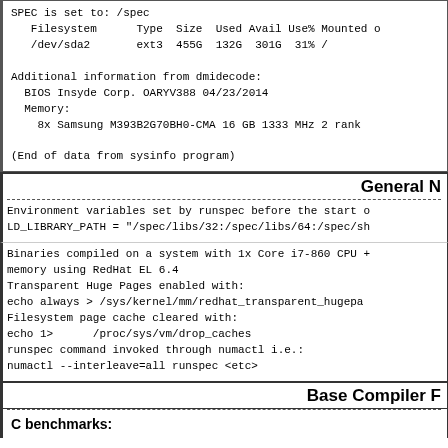SPEC is set to: /spec
   Filesystem      Type  Size  Used Avail Use% Mounted o
   /dev/sda2       ext3  455G  132G  301G  31% /

Additional information from dmidecode:
  BIOS Insyde Corp. OARYV388 04/23/2014
  Memory:
    8x Samsung M393B2G70BH0-CMA 16 GB 1333 MHz 2 rank

(End of data from sysinfo program)
General N
Environment variables set by runspec before the start o
LD_LIBRARY_PATH = "/spec/libs/32:/spec/libs/64:/spec/sh
Binaries compiled on a system with 1x Core i7-860 CPU +
memory using RedHat EL 6.4
Transparent Huge Pages enabled with:
echo always > /sys/kernel/mm/redhat_transparent_hugepa
Filesystem page cache cleared with:
echo 1>      /proc/sys/vm/drop_caches
runspec command invoked through numactl i.e.:
numactl --interleave=all runspec <etc>
Base Compiler F
C benchmarks: